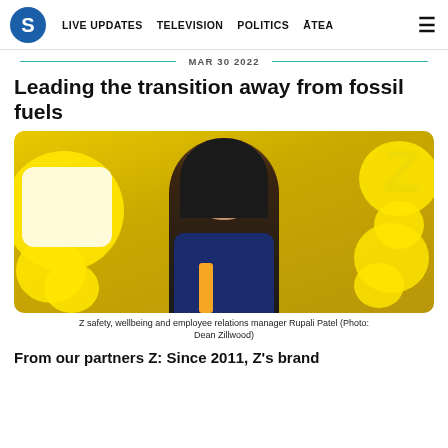S | LIVE UPDATES | TELEVISION | POLITICS | ĀTEA | ≡
MAR 30 2022
Leading the transition away from fossil fuels
[Figure (photo): Woman in Z Energy uniform (navy blue with orange accent) smiling at camera against yellow background with Z branding blobs. Caption: Z safety, wellbeing and employee relations manager Rupali Patel (Photo: Dean Zillwood)]
Z safety, wellbeing and employee relations manager Rupali Patel (Photo: Dean Zillwood)
From our partners Z: Since 2011, Z's brand